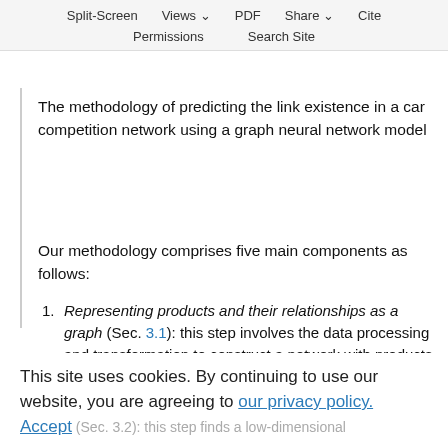Split-Screen  Views  PDF  Share  Cite  Permissions  Search Site
The methodology of predicting the link existence in a car competition network using a graph neural network model
Our methodology comprises five main components as follows:
Representing products and their relationships as a graph (Sec. 3.1): this step involves the data processing and transformation to construct a network with products as nodes and their
This site uses cookies. By continuing to use our website, you are agreeing to our privacy policy. Accept
(Sec. 3.2): this step finds a low-dimensional